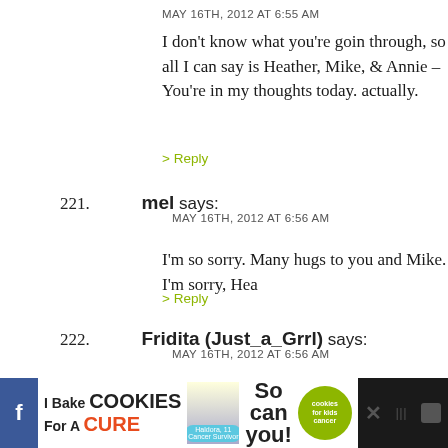MAY 16TH, 2012 AT 6:55 AM
I don't know what you're goin through, so all I can say is Heather, Mike, & Annie – You're in my thoughts today. actually.
> Reply
221. mel says: MAY 16TH, 2012 AT 6:56 AM
I'm so sorry. Many hugs to you and Mike. I'm sorry, Hea
> Reply
222. Fridita (Just_a_Grrl) says: MAY 16TH, 2012 AT 6:56 AM
No words… just so, so many hugs and love to you.
> Reply
223. Loukia says: MAY 16TH, 2012 AT 6:56 AM
[Figure (screenshot): Advertisement banner: I Bake COOKIES For A CURE with Haldora, 11 Cancer Survivor badge and 'So can you! cookies for kids cancer' green circle logo, with close button and social icons]